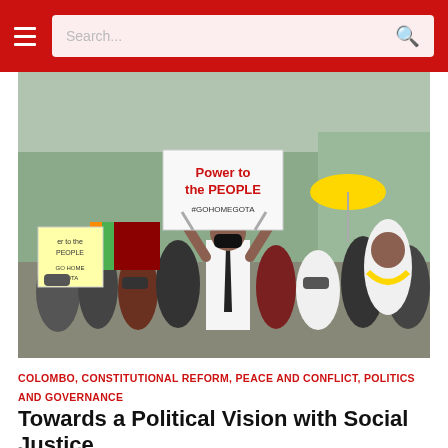Search...
[Figure (photo): A large crowd of protesters marching in Colombo, Sri Lanka. A man in the center wearing a white shirt and black tie holds a sign reading 'Power to the PEOPLE #GOHOMEGOTA'. People around him hold Sri Lanka flags and wear face masks. A yellow umbrella is visible in the background.]
COLOMBO, CONSTITUTIONAL REFORM, PEACE AND CONFLICT, POLITICS AND GOVERNANCE
Towards a Political Vision with Social Justice